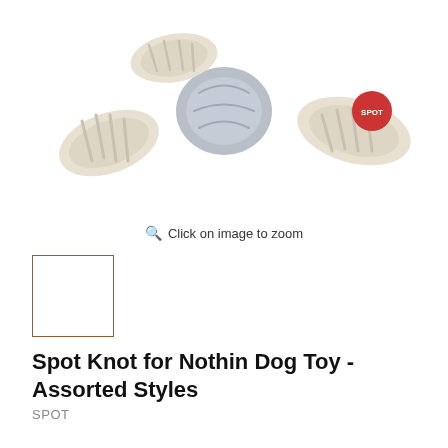[Figure (photo): Product photo of Spot Knot for Nothin Dog Toy — a rope dog toy with knotted ends in beige and light gray colors, with a red SPOT brand tag visible on one end, on a white background.]
Click on image to zoom
[Figure (photo): Small thumbnail image of the same Spot Knot for Nothin Dog Toy, shown in a square thumbnail box with brownish border.]
Spot Knot for Nothin Dog Toy - Assorted Styles
SPOT